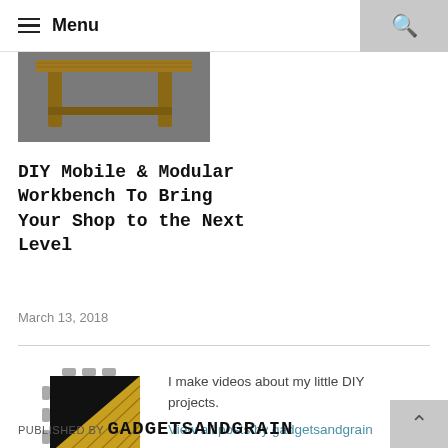≡ Menu
[Figure (photo): Photo of a DIY workbench, showing wooden structure on a grey floor]
DIY Mobile & Modular Workbench To Bring Your Shop to the Next Level
March 13, 2018
[Figure (logo): GadgetsAndGrain logo — diagonal split with black and yellow wood-grain texture, grey interlocking puzzle edges]
I make videos about my little DIY projects.
View all posts by gadgetsandgrain
PUBLISHED BY GADGETSANDGRAIN